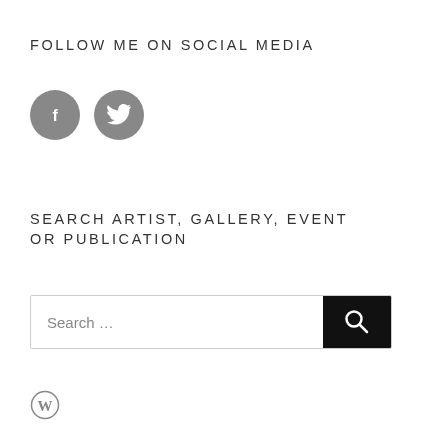FOLLOW ME ON SOCIAL MEDIA
[Figure (illustration): Two circular social media icons: Facebook (f) and Twitter (bird) on dark grey circles]
SEARCH ARTIST, GALLERY, EVENT OR PUBLICATION
[Figure (screenshot): Search bar with placeholder text 'Search...' and a black search button with magnifying glass icon]
[Figure (logo): WordPress logo (circle W icon) at the bottom left]